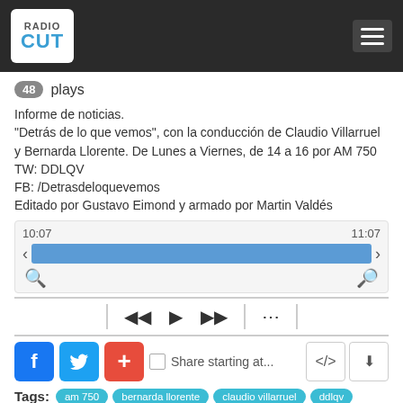RadioCut
48 plays
Informe de noticias.
"Detrás de lo que vemos", con la conducción de Claudio Villarruel y Bernarda Llorente. De Lunes a Viernes, de 14 a 16 por AM 750
TW: DDLQV
FB: /Detrasdeloquevemos
Editado por Gustavo Eimond y armado por Martin Valdés
[Figure (screenshot): Audio player with seek bar showing 10:07 to 11:07, playback controls (rewind, play, fast-forward, more), zoom icons]
[Figure (infographic): Social share buttons: Facebook, Twitter, plus button, share starting at checkbox, embed and download icon buttons]
Tags: am 750  bernarda llorente  claudio villarruel  ddlqv  detras de lo que vemos  lo que el dia nos dejo  macri  macri lo hizo  menemismo  menem lo hizo